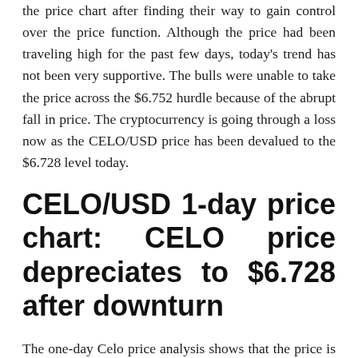the price chart after finding their way to gain control over the price function. Although the price had been traveling high for the past few days, today's trend has not been very supportive. The bulls were unable to take the price across the $6.752 hurdle because of the abrupt fall in price. The cryptocurrency is going through a loss now as the CELO/USD price has been devalued to the $6.728 level today.
CELO/USD 1-day price chart: CELO price depreciates to $6.728 after downturn
The one-day Celo price analysis shows that the price is headed down once again after encountering defeat. Although an uptrend was at its peak in the previous week, the most recent price movement has been in the bearish direction. The price has receded to the $6.72 level as the bears were able to secure their position on the candlestick chart once more. The price is